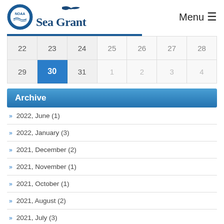[Figure (logo): NOAA Sea Grant logo with circular NOAA emblem and seagull]
Menu ☰
| 22 | 23 | 24 | 25 | 26 | 27 | 28 |
| 29 | 30 | 31 | 1 | 2 | 3 | 4 |
Archive
» 2022, June (1)
» 2022, January (3)
» 2021, December (2)
» 2021, November (1)
» 2021, October (1)
» 2021, August (2)
» 2021, July (3)
» 2021, June (1)
» 2021, May (1)
» 2021, February (2)